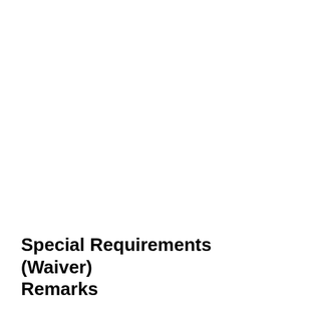Special Requirements (Waiver) Remarks